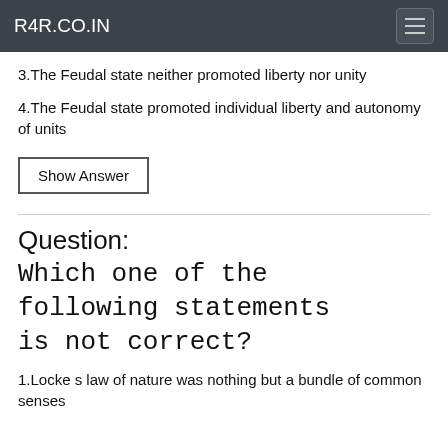R4R.CO.IN
3.The Feudal state neither promoted liberty nor unity
4.The Feudal state promoted individual liberty and autonomy of units
Show Answer
Question: Which one of the following statements is not correct?
1.Locke s law of nature was nothing but a bundle of common senses